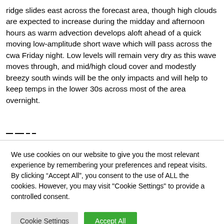ridge slides east across the forecast area, though high clouds are expected to increase during the midday and afternoon hours as warm advection develops aloft ahead of a quick moving low-amplitude short wave which will pass across the cwa Friday night. Low levels will remain very dry as this wave moves through, and mid/high cloud cover and modestly breezy south winds will be the only impacts and will help to keep temps in the lower 30s across most of the area overnight.
We use cookies on our website to give you the most relevant experience by remembering your preferences and repeat visits. By clicking “Accept All”, you consent to the use of ALL the cookies. However, you may visit "Cookie Settings" to provide a controlled consent.